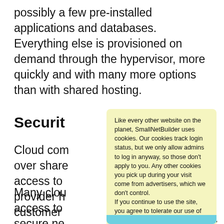possibly a few pre-installed applications and databases.  Everything else is provisioned on demand through the hypervisor, more quickly and with many more options than with shared hosting.
Securit
Cloud com... security over share... full access to ... the cloud provider h... e customer ... enting security p... instance, just as the...
Many clou... pport access to ... other secure ne... an quickly and easily... urces to
[Figure (other): Cookie consent overlay popup with light yellow background. Text reads: 'Like every other website on the planet, SmallNetBuilder uses cookies. Our cookies track login status, but we only allow admins to log in anyway, so those don't apply to you. Any other cookies you pick up during your visit come from advertisers, which we don't control. If you continue to use the site, you agree to tolerate our use of cookies. Thank you!' with a green 'I Agree' button and a teal/cyan strip at the bottom.]